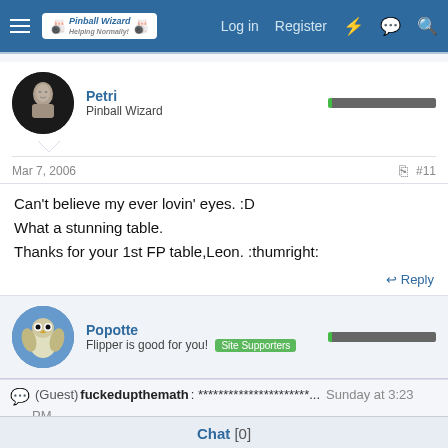Log in  Register
Petri
Pinball Wizard
Mar 7, 2006   #11
Can't believe my ever lovin' eyes. :D
What a stunning table.
Thanks for your 1st FP table,Leon. :thumright:
Reply
Popotte
Flipper is good for you!  Site Supporters
(Guest) fuckedupthemath: **********************...  Sunday at 3:23 PM
Chat [0]